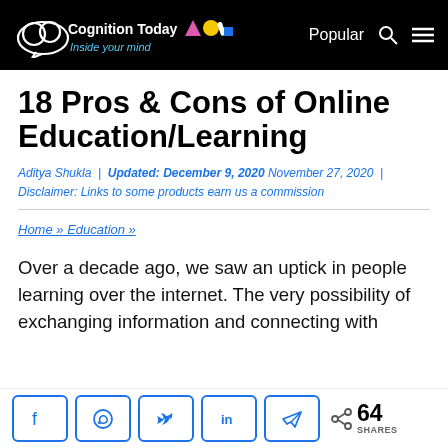Cognition Today — Inside your mind | Popular
18 Pros & Cons of Online Education/Learning
Aditya Shukla | Updated: December 9, 2020 November 27, 2020 | Disclaimer: Links to some products earn us a commission
Home » Education »
Over a decade ago, we saw an uptick in people learning over the internet. The very possibility of exchanging information and connecting with
[Figure (infographic): Social share bar with Facebook, WhatsApp, Twitter, LinkedIn, Telegram buttons and share count of 64]